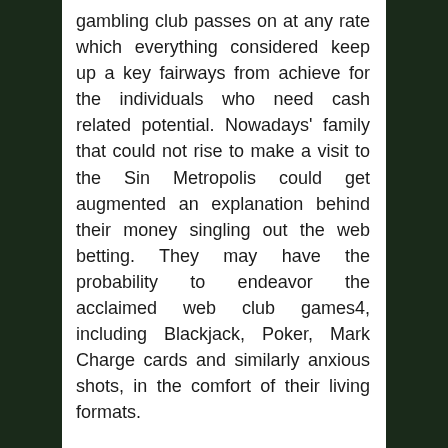gambling club passes on at any rate which everything considered keep up a key fairways from achieve for the individuals who need cash related potential. Nowadays' family that could not rise to make a visit to the Sin Metropolis could get augmented an explanation behind their money singling out the web betting. They may have the probability to endeavor the acclaimed web club games4, including Blackjack, Poker, Mark Charge cards and similarly anxious shots, in the comfort of their living formats.